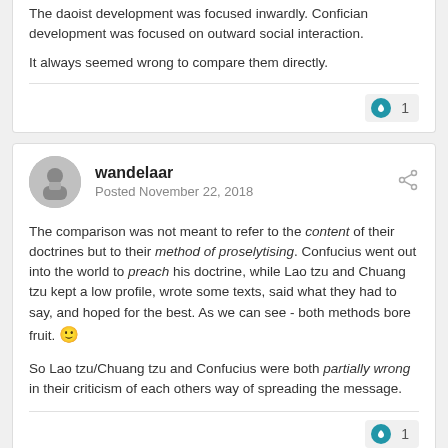The daoist development was focused inwardly. Confician development was focused on outward social interaction.
It always seemed wrong to compare them directly.
wandelaar
Posted November 22, 2018
The comparison was not meant to refer to the content of their doctrines but to their method of proselytising. Confucius went out into the world to preach his doctrine, while Lao tzu and Chuang tzu kept a low profile, wrote some texts, said what they had to say, and hoped for the best. As we can see - both methods bore fruit. 🙂
So Lao tzu/Chuang tzu and Confucius were both partially wrong in their criticism of each others way of spreading the message.